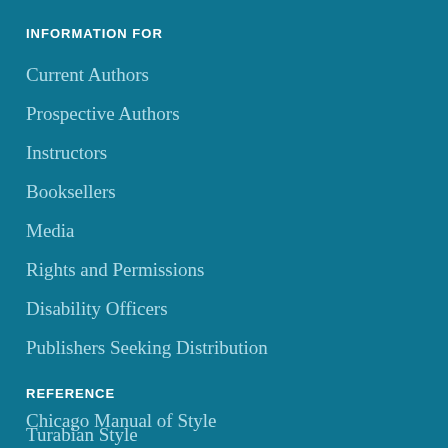INFORMATION FOR
Current Authors
Prospective Authors
Instructors
Booksellers
Media
Rights and Permissions
Disability Officers
Publishers Seeking Distribution
REFERENCE
Chicago Manual of Style
Turabian Style